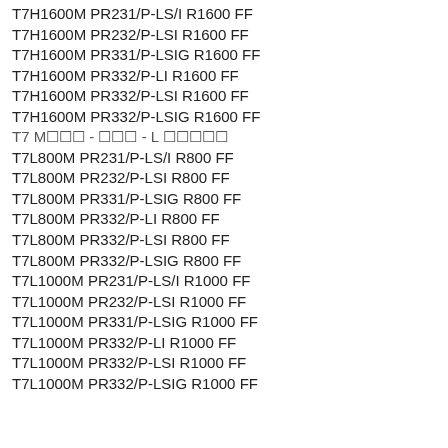T7H1600M PR231/P-LS/I R1600 FF
T7H1600M PR232/P-LSI R1600 FF
T7H1600M PR331/P-LSIG R1600 FF
T7H1600M PR332/P-LI R1600 FF
T7H1600M PR332/P-LSI R1600 FF
T7H1600M PR332/P-LSIG R1600 FF
T7 M☐☐☐ - ☐☐☐ - L ☐☐☐☐☐
T7L800M PR231/P-LS/I R800 FF
T7L800M PR232/P-LSI R800 FF
T7L800M PR331/P-LSIG R800 FF
T7L800M PR332/P-LI R800 FF
T7L800M PR332/P-LSI R800 FF
T7L800M PR332/P-LSIG R800 FF
T7L1000M PR231/P-LS/I R1000 FF
T7L1000M PR232/P-LSI R1000 FF
T7L1000M PR331/P-LSIG R1000 FF
T7L1000M PR332/P-LI R1000 FF
T7L1000M PR332/P-LSI R1000 FF
T7L1000M PR332/P-LSIG R1000 FF